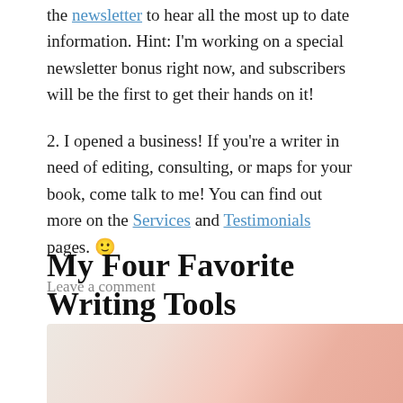the newsletter to hear all the most up to date information. Hint: I'm working on a special newsletter bonus right now, and subscribers will be the first to get their hands on it!
2. I opened a business! If you're a writer in need of editing, consulting, or maps for your book, come talk to me! You can find out more on the Services and Testimonials pages. 🙂
Leave a comment
My Four Favorite Writing Tools
[Figure (photo): Partially visible photo of writing tools/stationery with pink and pastel tones, cropped at bottom of page]